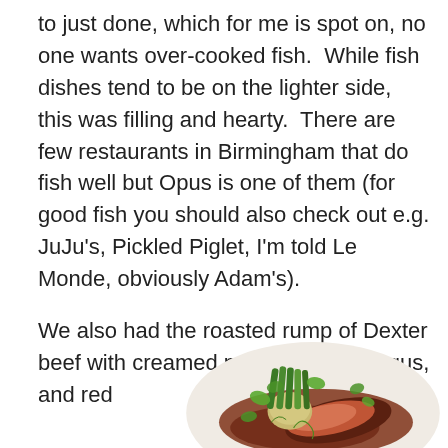to just done, which for me is spot on, no one wants overcooked fish.  While fish dishes tend to be on the lighter side, this was filling and hearty.  There are few restaurants in Birmingham that do fish well but Opus is one of them (for good fish you should also check out e.g. JuJu's, Pickled Piglet, I'm told Le Monde, obviously Adam's).
We also had the roasted rump of Dexter beef with creamed potatoes, asparagus, and red
[Figure (photo): A plate of roasted rump of Dexter beef with creamed potatoes, asparagus, and red wine sauce, garnished with micro greens, served on a white plate.]